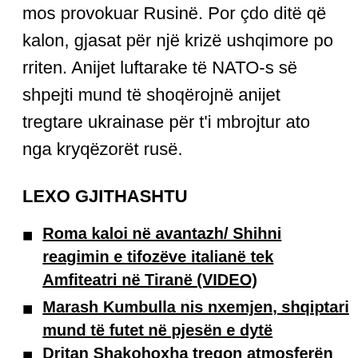mos provokuar Rusinë. Por çdo ditë që kalon, gjasat për një krizë ushqimore po rriten. Anijet luftarake të NATO-s së shpejti mund të shoqërojnë anijet tregtare ukrainase për t'i mbrojtur ato nga kryqëzorët rusë.
LEXO GJITHASHTU
Roma kaloi në avantazh/ Shihni reagimin e tifozëve italianë tek Amfiteatri në Tiranë (VIDEO)
Marash Kumbulla nis nxemjen, shqiptari mund të futet në pjesën e dytë
Dritan Shakohoxha tregon atmosferën